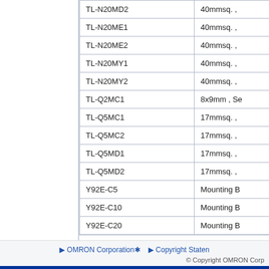| Model | Description |
| --- | --- |
| TL-N20MD2 | 40mmsq. , |
| TL-N20ME1 | 40mmsq. , |
| TL-N20ME2 | 40mmsq. , |
| TL-N20MY1 | 40mmsq. , |
| TL-N20MY2 | 40mmsq. , |
| TL-Q2MC1 | 8x9mm , Se |
| TL-Q5MC1 | 17mmsq. , |
| TL-Q5MC2 | 17mmsq. , |
| TL-Q5MD1 | 17mmsq. , |
| TL-Q5MD2 | 17mmsq. , |
| Y92E-C5 | Mounting B |
| Y92E-C10 | Mounting B |
| Y92E-C20 | Mounting B |
▶ OMRON Corporation  ▶ Copyright Statement  © Copyright OMRON Corp